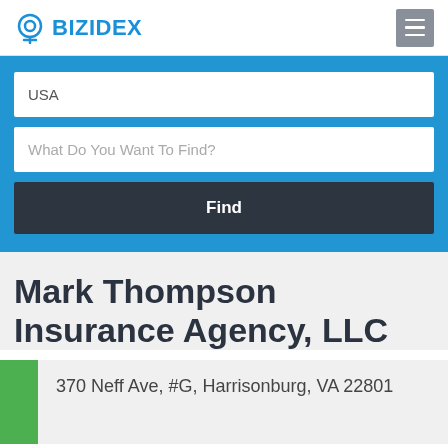BIZIDEX
USA
What Do You Want To Find?
Find
Mark Thompson Insurance Agency, LLC
370 Neff Ave, #G, Harrisonburg, VA 22801